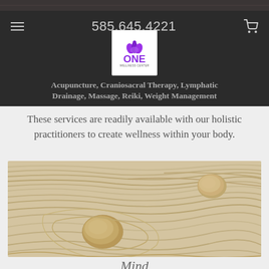585.645.4221
Body
Acupuncture, Craniosacral Therapy, Lymphatic Drainage, Massage, Reiki, Weight Management
These services are readily available with our holistic practitioners to create wellness within your body.
[Figure (photo): Zen sand garden with two smooth stones resting in raked wavy sand patterns]
Mind